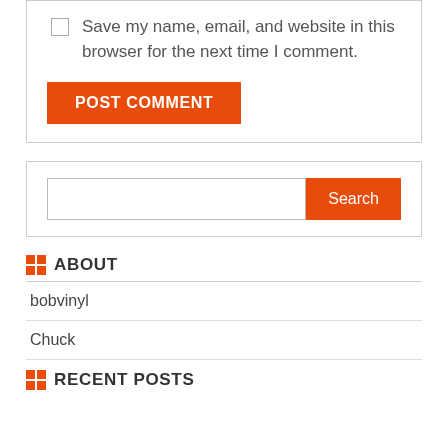Save my name, email, and website in this browser for the next time I comment.
POST COMMENT
Search
ABOUT
bobvinyl
Chuck
RECENT POSTS